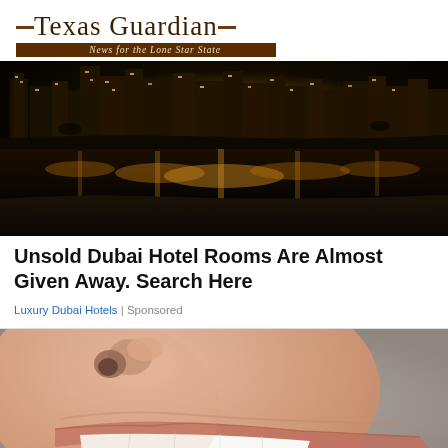Texas Guardian — News for the Lone Star State
[Figure (photo): Night skyline of Dubai waterfront with illuminated hotel buildings reflecting golden light on water]
Unsold Dubai Hotel Rooms Are Almost Given Away. Search Here
Luxury Dubai Hotels | Sponsored
[Figure (photo): Close-up of a woman's smile showing white teeth, nose and lips visible, gray background]